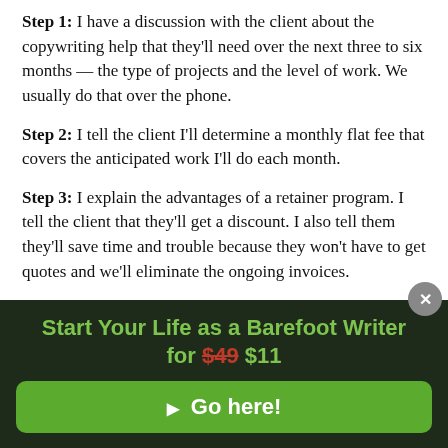Step 1: I have a discussion with the client about the copywriting help that they'll need over the next three to six months — the type of projects and the level of work. We usually do that over the phone.
Step 2: I tell the client I'll determine a monthly flat fee that covers the anticipated work I'll do each month.
Step 3: I explain the advantages of a retainer program. I tell the client that they'll get a discount. I also tell them they'll save time and trouble because they won't have to get quotes and we'll eliminate the ongoing invoices.
Start Your Life as a Barefoot Writer for $49 $11
▶ Go here!